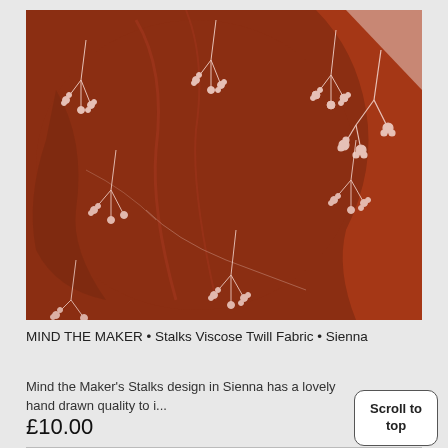[Figure (photo): Close-up of rust/sienna-colored fabric with white floral stalks print (Mind the Maker Stalks Viscose Twill in Sienna), draped and folded to show texture.]
MIND THE MAKER • Stalks Viscose Twill Fabric • Sienna
Mind the Maker's Stalks design in Sienna has a lovely hand drawn quality to i...
£10.00
Scroll to top